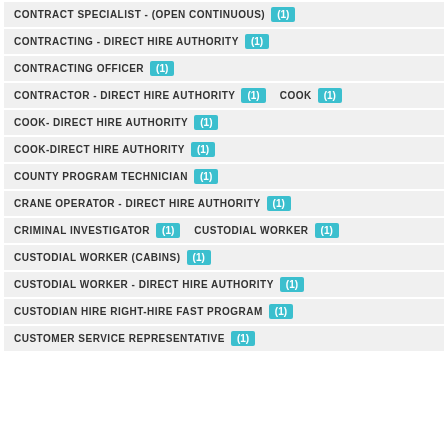CONTRACT SPECIALIST - (OPEN CONTINUOUS) (1)
CONTRACTING - DIRECT HIRE AUTHORITY (1)
CONTRACTING OFFICER (1)
CONTRACTOR - DIRECT HIRE AUTHORITY (1)  COOK (1)
COOK- DIRECT HIRE AUTHORITY (1)
COOK-DIRECT HIRE AUTHORITY (1)
COUNTY PROGRAM TECHNICIAN (1)
CRANE OPERATOR - DIRECT HIRE AUTHORITY (1)
CRIMINAL INVESTIGATOR (1)  CUSTODIAL WORKER (1)
CUSTODIAL WORKER (CABINS) (1)
CUSTODIAL WORKER - DIRECT HIRE AUTHORITY (1)
CUSTODIAN HIRE RIGHT-HIRE FAST PROGRAM (1)
CUSTOMER SERVICE REPRESENTATIVE (1)